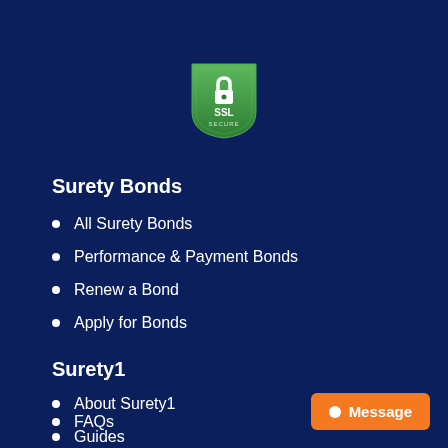[Figure (logo): SSL Secure badge — green shield with padlock icon and text SSL SECURE]
Surety Bonds
All Surety Bonds
Performance & Payment Bonds
Renew a Bond
Apply for Bonds
Surety1
About Surety1
FAQs
Guides